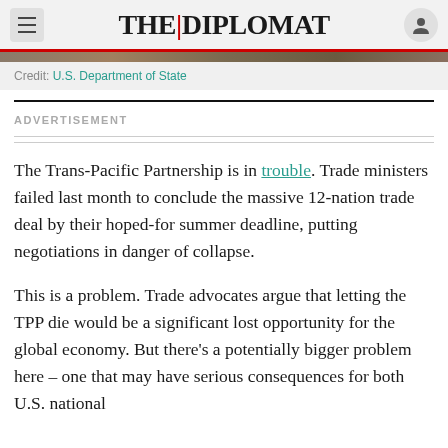THE | DIPLOMAT
Credit: U.S. Department of State
ADVERTISEMENT
The Trans-Pacific Partnership is in trouble. Trade ministers failed last month to conclude the massive 12-nation trade deal by their hoped-for summer deadline, putting negotiations in danger of collapse.
This is a problem. Trade advocates argue that letting the TPP die would be a significant lost opportunity for the global economy. But there’s a potentially bigger problem here – one that may have serious consequences for both U.S. national